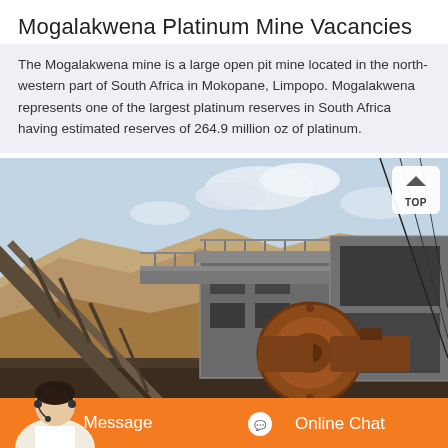Mogalakwena Platinum Mine Vacancies
The Mogalakwena mine is a large open pit mine located in the north-western part of South Africa in Mokopane, Limpopo. Mogalakwena represents one of the largest platinum reserves in South Africa having estimated reserves of 264.9 million oz of platinum.
[Figure (photo): Photograph of Mogalakwena Platinum Mine showing industrial conveyor belts, large machinery with orange/rust-colored drum equipment, structural steel scaffolding, and rocky terrain in the background under a partly cloudy sky. A 'TOP' navigation button overlay appears in the top-right corner. A customer service chat bar with a person/agent photo, 'Message' button and 'Online Chat' button in orange appears at the bottom.]